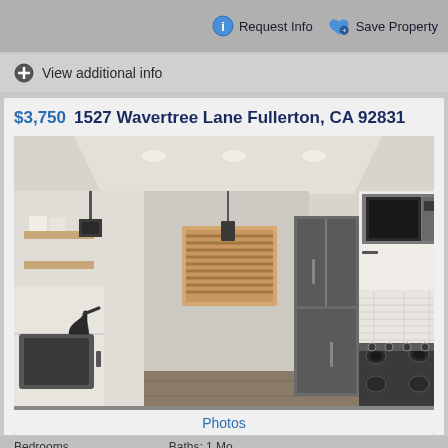Request Info   Save Property
View additional info
$3,750   1527 Wavertree Lane Fullerton, CA 92831
[Figure (photo): Interior kitchen photo showing modern white cabinets, stainless steel appliances including microwave and gas range, black kitchen faucet with undermount sink, wood-look flooring, subway tile backsplash, and pendant lighting over a window with wood blinds.]
Photos